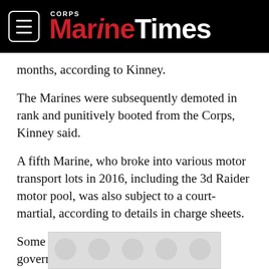Marine Corps Times
months, according to Kinney.
The Marines were subsequently demoted in rank and punitively booted from the Corps, Kinney said.
A fifth Marine, who broke into various motor transport lots in 2016, including the 3d Raider motor pool, was also subject to a court-martial, according to details in charge sheets.
Some of the charges included larceny of government property, wrongful sale of military property and
[Figure (other): Advertisement banner with circular pattern overlay]